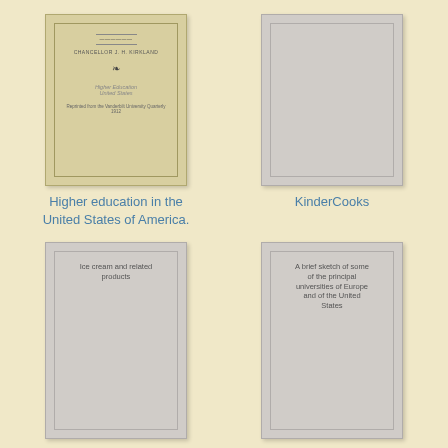[Figure (illustration): Cover of aged book 'Higher education in the United States of America' by Chancellor J.H. Kirkland, with decorative bird emblem]
[Figure (illustration): Gray placeholder book cover for KinderCooks]
Higher education in the United States of America.
KinderCooks
[Figure (illustration): Gray placeholder book cover labeled 'Ice cream and related products']
[Figure (illustration): Gray placeholder book cover labeled 'A brief sketch of some of the principal universities of Europe and of the United States']
Ice cream and related products
A brief sketch of some of the principal